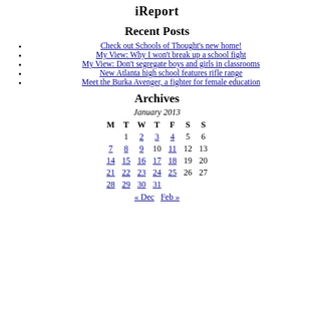iReport
Recent Posts
Check out Schools of Thought's new home!
My View: Why I won't break up a school fight
My View: Don't segregate boys and girls in classrooms
New Atlanta high school features rifle range
Meet the Burka Avenger, a fighter for female education
Archives
| M | T | W | T | F | S | S |
| --- | --- | --- | --- | --- | --- | --- |
|  | 1 | 2 | 3 | 4 | 5 | 6 |
| 7 | 8 | 9 | 10 | 11 | 12 | 13 |
| 14 | 15 | 16 | 17 | 18 | 19 | 20 |
| 21 | 22 | 23 | 24 | 25 | 26 | 27 |
| 28 | 29 | 30 | 31 |  |  |  |
« Dec   Feb »